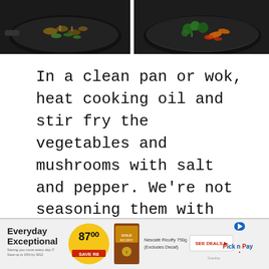[Figure (photo): Two dark wok/pan photos side by side showing stir-fried vegetables and mushrooms. Left pan shows mushrooms and greens, right pan shows broccoli and colored vegetables.]
In a clean pan or wok, heat cooking oil and stir fry the vegetables and mushrooms with salt and pepper. We’re not seasoning them with sauce because that would make the vegetables too dark, and we really want them to retain their natural colors as much as possible.
[Figure (photo): Pick n Pay advertisement banner showing Everyday Exceptional branding with a yellow price badge showing 87.00, a Nescafe Ricoffy 750g product, a SEE DEALS button, and the Pick n Pay logo.]